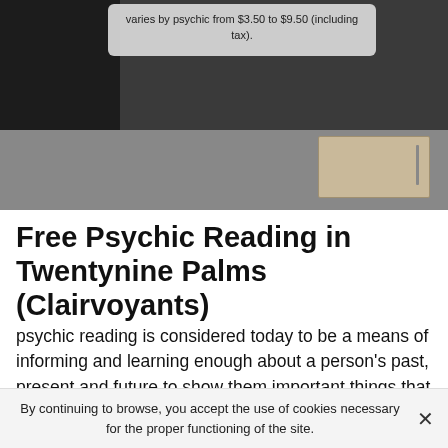[Figure (photo): Dark background photo of a person at a desk with a notebook, partially obscured. A light gray overlay box at the top contains text about pricing varying by psychic from $3.50 to $9.50 (including tax).]
Free Psychic Reading in Twentynine Palms (Clairvoyants)
psychic reading is considered today to be a means of informing and learning enough about a person's past, present and future to show them important things that they may have missed. Most people around the world rely on it because of its importance and usefulness. However,
By continuing to browse, you accept the use of cookies necessary for the proper functioning of the site.